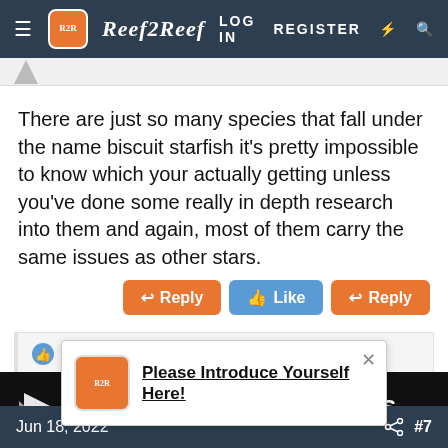Reef2Reef — LOG IN  REGISTER
There are just so many species that fall under the name biscuit starfish it's pretty impossible to know which your actually getting unless you've done some really in depth research into them and again, most of them carry the same issues as other stars.
↩ Reply  👍 Like  ↩ Reply
AydenLincoln
[Figure (screenshot): Dinkins Aquatic Gardens advertisement banner with fish logo and text 'Copepods...']
[Figure (screenshot): Popup notification with Reef2Reef logo saying 'Please Introduce Yourself Here!']
Jun 18, 2022  #7